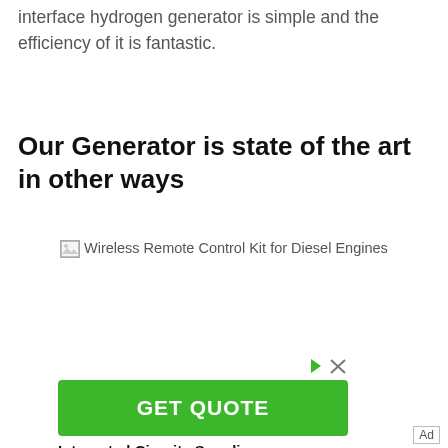interface hydrogen generator is simple and the efficiency of it is fantastic.
Our Generator is state of the art in other ways
[Figure (photo): Broken image placeholder with alt text: Wireless Remote Control Kit for Diesel Engines]
[Figure (infographic): Advertisement banner with green GET QUOTE button, Integrated Circuits Supplier label, and Ad marker]
Integrated Circuits Supplier